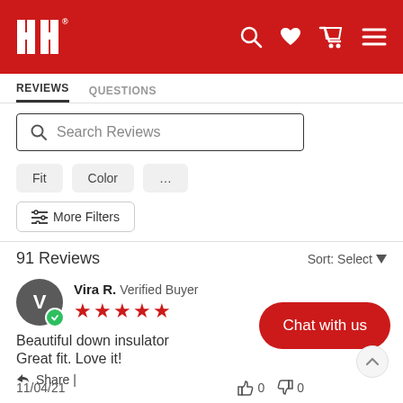HH® [logo with search, heart, cart, menu icons]
REVIEWS  QUESTIONS
Search Reviews
Fit  Color  ...
≡ More Filters
91 Reviews  Sort: Select
Vira R.  Verified Buyer
Beautiful down insulator
Great fit. Love it!
Share |
11/04/21
Chat with us